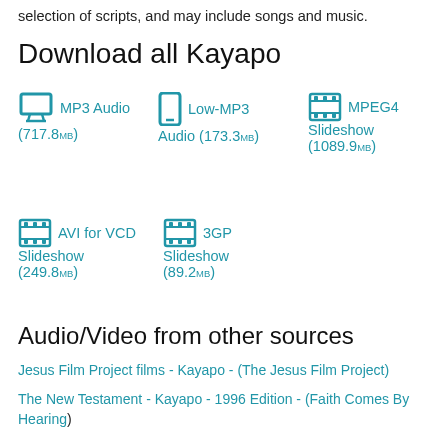selection of scripts, and may include songs and music.
Download all Kayapo
MP3 Audio (717.8MB)
Low-MP3 Audio (173.3MB)
MPEG4 Slideshow (1089.9MB)
AVI for VCD Slideshow (249.8MB)
3GP Slideshow (89.2MB)
Audio/Video from other sources
Jesus Film Project films - Kayapo - (The Jesus Film Project)
The New Testament - Kayapo - 1996 Edition - (Faith Comes By Hearing)